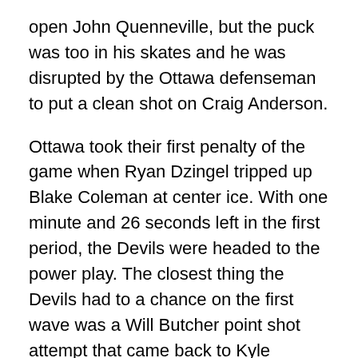open John Quenneville, but the puck was too in his skates and he was disrupted by the Ottawa defenseman to put a clean shot on Craig Anderson.
Ottawa took their first penalty of the game when Ryan Dzingel tripped up Blake Coleman at center ice. With one minute and 26 seconds left in the first period, the Devils were headed to the power play. The closest thing the Devils had to a chance on the first wave was a Will Butcher point shot attempt that came back to Kyle Palmieri in the slot, who couldn't hit the net. Pavel Zacha had the last opportunity to make something happen when a pass came to him to the right of Craig Anderson on a rush, but he couldn't steer the puck to the net. With that, the period expired.
It was a good period, ultimately. There were no